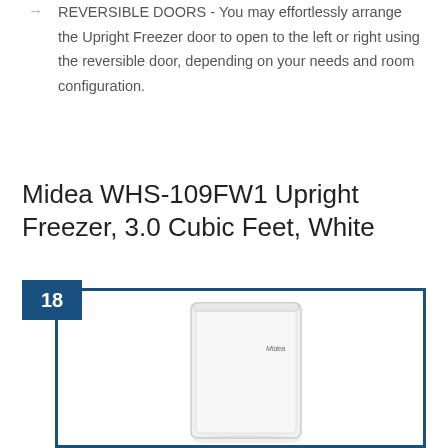REVERSIBLE DOORS - You may effortlessly arrange the Upright Freezer door to open to the left or right using the reversible door, depending on your needs and room configuration.
Midea WHS-109FW1 Upright Freezer, 3.0 Cubic Feet, White
[Figure (photo): Product image of Midea WHS-109FW1 white upright freezer with badge number 18, shown in a blue-bordered box]